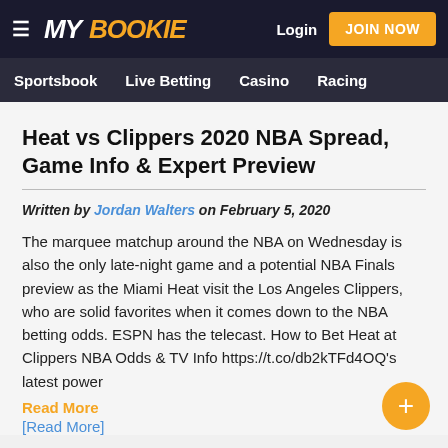MY BOOKIE | Login | JOIN NOW | Sportsbook | Live Betting | Casino | Racing
Heat vs Clippers 2020 NBA Spread, Game Info & Expert Preview
Written by Jordan Walters on February 5, 2020
The marquee matchup around the NBA on Wednesday is also the only late-night game and a potential NBA Finals preview as the Miami Heat visit the Los Angeles Clippers, who are solid favorites when it comes down to the NBA betting odds. ESPN has the telecast. How to Bet Heat at Clippers NBA Odds & TV Info https://t.co/db2kTFd4OQ's latest power
Read More
[Read More]